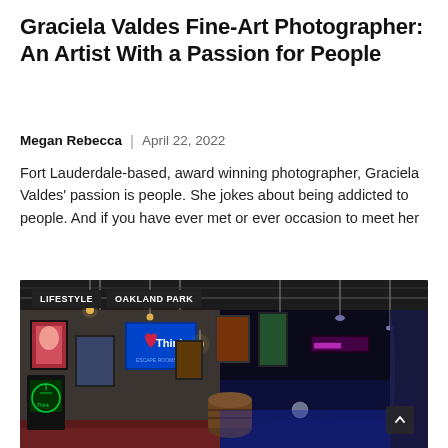Graciela Valdes Fine-Art Photographer: An Artist With a Passion for People
Megan Rebecca  |  April 22, 2022
Fort Lauderdale-based, award winning photographer, Graciela Valdes' passion is people. She jokes about being addicted to people. And if you have ever met or ever occasion to meet her
[Figure (photo): Interior of an art gallery/entertainment venue with colorful framed artwork on walls, arcade games, a blue neon 'Think' sign on a TV screen, a barrel table, blue stage lighting on the right side, and overlay tags reading 'LIFESTYLE' and 'OAKLAND PARK']